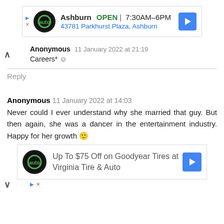[Figure (other): Advertisement banner for Virginia Tire & Auto: Ashburn location, OPEN 7:30AM-6PM, 43781 Parkhurst Plaza Ashburn]
Anonymous  11 January 2022 at 21:19
Careers* ☺
Reply
Anonymous  11 January 2022 at 14:03
Never could I ever understand why she married that guy. But then again, she was a dancer in the entertainment industry. Happy for her growth 🙂
[Figure (other): Advertisement banner: Up To $75 Off on Goodyear Tires at Virginia Tire & Auto]